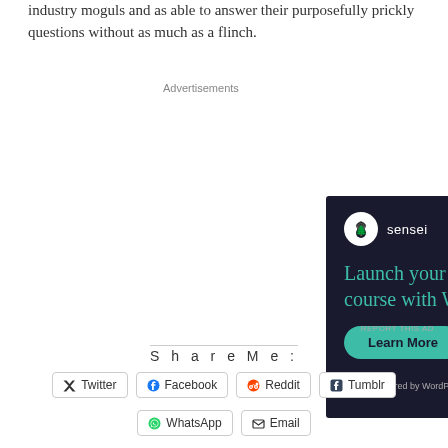industry moguls and as able to answer their purposefully prickly questions without as much as a flinch.
Advertisements
[Figure (screenshot): Sensei advertisement: 'Launch your online course with WordPress' with a 'Learn More' button and 'Powered by WordPress.com' footer on dark background.]
REPORT THIS AD
Share Me:
Twitter
Facebook
Reddit
Tumblr
WhatsApp
Email